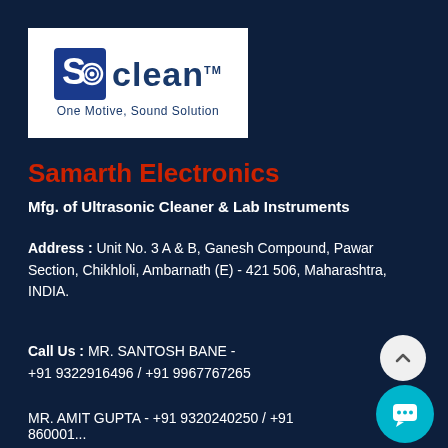[Figure (logo): S-Clean logo with blue S icon, sound wave graphic, 'clean' text in blue with TM mark, tagline 'One Motive, Sound Solution' on white background]
Samarth Electronics
Mfg. of Ultrasonic Cleaner & Lab Instruments
Address : Unit No. 3 A & B, Ganesh Compound, Pawar Section, Chikhloli, Ambarnath (E) - 421 506, Maharashtra, INDIA.
Call Us : MR. SANTOSH BANE - +91 9322916496 / +91 9967767265
MR. AMIT GUPTA - +91 9320240250 / +91 860001...